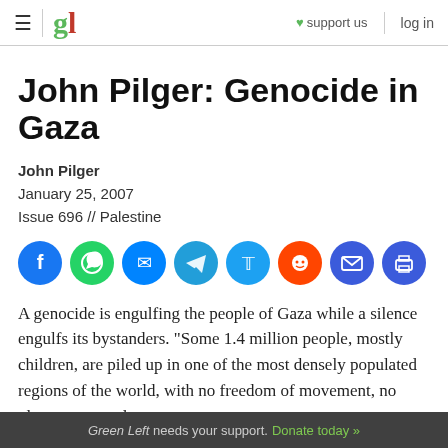≡ | gl  ♥ support us  log in
John Pilger: Genocide in Gaza
John Pilger
January 25, 2007
Issue 696 // Palestine
[Figure (infographic): Row of 8 social sharing icon buttons: Facebook (blue), WhatsApp (green), Messenger (blue), Telegram (light blue), Twitter (blue), Reddit (orange-red), Email (dark blue), Print (dark blue)]
A genocide is engulfing the people of Gaza while a silence engulfs its bystanders. "Some 1.4 million people, mostly children, are piled up in one of the most densely populated regions of the world, with no freedom of movement, no place to run and no
Green Left needs your support. Donate today »